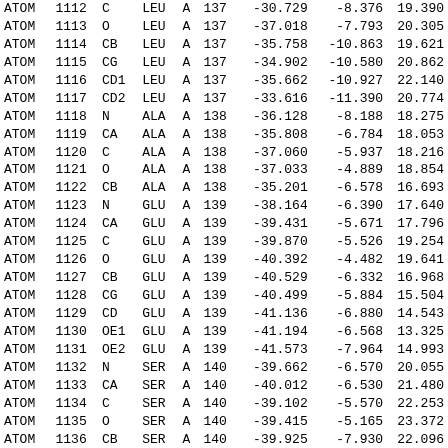| type | serial | name | res | chain | resSeq | x | y | z |
| --- | --- | --- | --- | --- | --- | --- | --- | --- |
| ATOM | 1112 | C | LEU | A | 137 | -30.729 | -8.376 | 19.390 |
| ATOM | 1113 | O | LEU | A | 137 | -37.018 | -7.793 | 20.305 |
| ATOM | 1114 | CB | LEU | A | 137 | -35.758 | -10.863 | 19.621 |
| ATOM | 1115 | CG | LEU | A | 137 | -34.902 | -10.580 | 20.862 |
| ATOM | 1116 | CD1 | LEU | A | 137 | -35.662 | -10.927 | 22.140 |
| ATOM | 1117 | CD2 | LEU | A | 137 | -33.616 | -11.390 | 20.774 |
| ATOM | 1118 | N | ALA | A | 138 | -36.128 | -8.188 | 18.275 |
| ATOM | 1119 | CA | ALA | A | 138 | -35.808 | -6.784 | 18.053 |
| ATOM | 1120 | C | ALA | A | 138 | -37.060 | -5.937 | 18.216 |
| ATOM | 1121 | O | ALA | A | 138 | -37.033 | -4.889 | 18.854 |
| ATOM | 1122 | CB | ALA | A | 138 | -35.201 | -6.578 | 16.693 |
| ATOM | 1123 | N | GLU | A | 139 | -38.164 | -6.390 | 17.640 |
| ATOM | 1124 | CA | GLU | A | 139 | -39.431 | -5.671 | 17.796 |
| ATOM | 1125 | C | GLU | A | 139 | -39.870 | -5.526 | 19.254 |
| ATOM | 1126 | O | GLU | A | 139 | -40.392 | -4.482 | 19.641 |
| ATOM | 1127 | CB | GLU | A | 139 | -40.529 | -6.332 | 16.968 |
| ATOM | 1128 | CG | GLU | A | 139 | -40.499 | -5.884 | 15.504 |
| ATOM | 1129 | CD | GLU | A | 139 | -41.136 | -6.880 | 14.543 |
| ATOM | 1130 | OE1 | GLU | A | 139 | -41.194 | -6.568 | 13.325 |
| ATOM | 1131 | OE2 | GLU | A | 139 | -41.573 | -7.964 | 14.993 |
| ATOM | 1132 | N | SER | A | 140 | -39.662 | -6.570 | 20.055 |
| ATOM | 1133 | CA | SER | A | 140 | -40.012 | -6.530 | 21.480 |
| ATOM | 1134 | C | SER | A | 140 | -39.102 | -5.570 | 22.253 |
| ATOM | 1135 | O | SER | A | 140 | -39.415 | -5.165 | 23.372 |
| ATOM | 1136 | CB | SER | A | 140 | -39.925 | -7.930 | 22.096 |
| ATOM | 1137 | OG | SER | A | 140 | -38.582 | -8.245 | 22.464 |
| ATOM | 1138 | N | TRP | A | 141 | -37.975 | -5.216 | 21.650 |
| ATOM | 1139 | CA | TRP | A | 141 | -37.023 | -4.292 | 22.255 |
| ATOM | 1140 | C | TRP | A | 141 | -37.204 | -2.891 | 21.697 |
| ATOM | 1141 | O | TRP | A | 141 | -36.496 | -1.965 | 22.097 |
| ATOM | 1142 | CB | TRP | A | 141 | -35.007 | -4.800 | 21.885 |